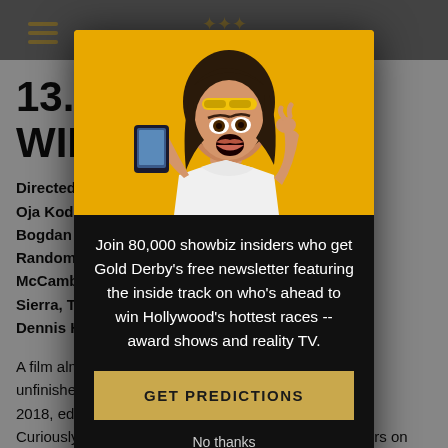[Figure (screenshot): Website article page background showing a partial article titled '13. T... HE WIND...' with bold article text about a film directed by someone, actors including Oja Koda, Bob Bogdano, Gregory Sierra, Dennis H., with partial body text about the film.]
[Figure (photo): Photo of a young woman with long dark hair, surprised expression, holding a smartphone, against a bright orange/yellow background.]
Join 80,000 showbiz insiders who get Gold Derby's free newsletter featuring the inside track on who's ahead to win Hollywood's hottest races -- award shows and reality TV.
GET PREDICTIONS
No thanks